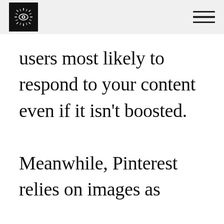[logo] [menu]
users most likely to respond to your content even if it isn't boosted. Meanwhile, Pinterest relies on images as